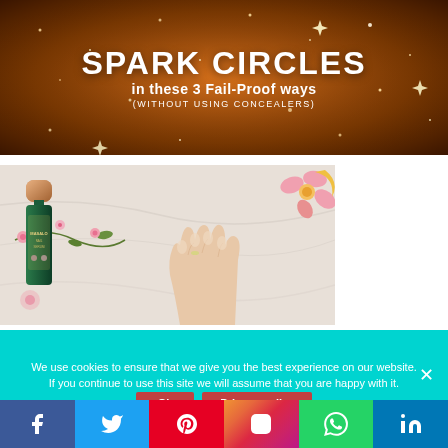[Figure (infographic): Dark orange/brown sparkly glitter background banner with white text: 'SPARK CIRCLES in these 3 Fail-Proof ways (WITHOUT USING CONCEALERS)']
[Figure (photo): Product photo showing a nail serum bottle with rose-gold cap and dark green body with floral label (labeled 'MASALO'), surrounded by illustrated pink flowers and vine decorations. A hand is applying product on fingernails against a marble background with drawn flowers.]
We use cookies to ensure that we give you the best experience on our website. If you continue to use this site we will assume that you are happy with it.
[Figure (infographic): Social media share bar with Facebook, Twitter, Pinterest, Instagram, WhatsApp, and LinkedIn buttons]